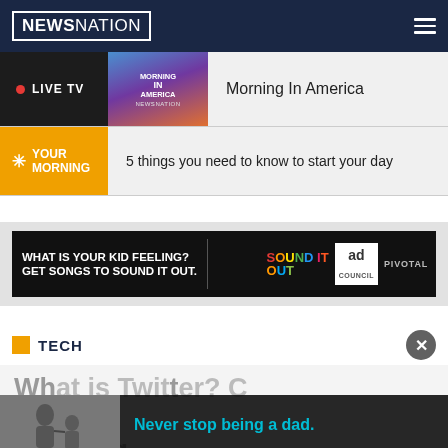NEWSNATION
LIVE TV — Morning In America
YOUR MORNING — 5 things you need to know to start your day
[Figure (photo): Advertisement: WHAT IS YOUR KID FEELING? GET SONGS TO SOUND IT OUT. Sound It Out — ad council / pivotal]
TECH
What is Twitter? C... rele... shooting
[Figure (photo): Advertisement overlay: Never stop being a dad. — image of father and child]